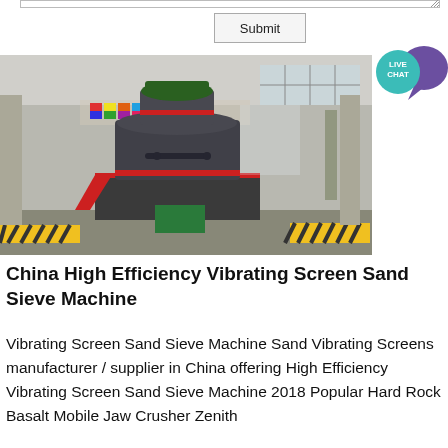[Figure (screenshot): Submit button with textarea resize handle at top of page, part of a web form]
[Figure (photo): Large industrial grinding mill machine inside a factory/warehouse building. The machine is cylindrical and grey/black with red accents, positioned in a large industrial hall with international flags visible in the background.]
China High Efficiency Vibrating Screen Sand Sieve Machine
Vibrating Screen Sand Sieve Machine Sand Vibrating Screens manufacturer / supplier in China offering High Efficiency Vibrating Screen Sand Sieve Machine 2018 Popular Hard Rock Basalt Mobile Jaw Crusher Zenith